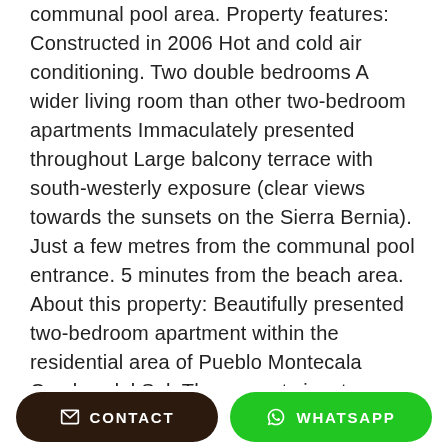communal pool area. Property features: Constructed in 2006 Hot and cold air conditioning. Two double bedrooms A wider living room than other two-bedroom apartments Immaculately presented throughout Large balcony terrace with south-westerly exposure (clear views towards the sunsets on the Sierra Bernia). Just a few metres from the communal pool entrance. 5 minutes from the beach area. About this property: Beautifully presented two-bedroom apartment within the residential area of Pueblo Montecala Cumbre del Sol. The property is a two double bedroom apartment, featuring a wider lounge, an extra storage cupboard with a washing machine in the kitchen, an extra storage cupboard in the entrance to the guest bedroom, and a larger principal bedroom than other apartments in the complex. The balcony terrace has a south-west orientation and partly covered with a pergola. The exterior of the building has just been painted (painted every 4-5 years
CONTACT   WHATSAPP